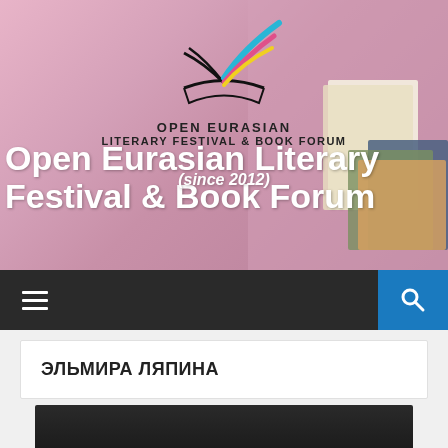[Figure (logo): Open Eurasian Literary Festival & Book Forum logo with colorful feathers above an open book, with text 'OPEN EURASIAN LITERARY FESTIVAL & BOOK FORUM']
Open Eurasian Literary Festival & Book Forum (since 2012)
[Figure (photo): Navigation bar with hamburger menu on left and search icon on right blue background]
ЭЛЬМИРА ЛЯПИНА
[Figure (photo): Partial dark photograph at bottom of page]